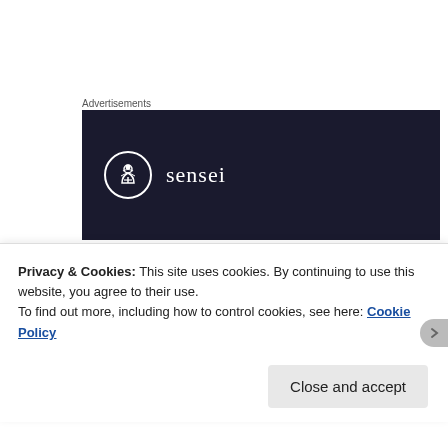Advertisements
[Figure (logo): Sensei logo on dark navy background — circular icon with tree/person symbol and text 'sensei']
The following are crucial to understanding intertextuality:
nothing is truly original (in the sense of unique, pristine, one-off)
Privacy & Cookies: This site uses cookies. By continuing to use this website, you agree to their use.
To find out more, including how to control cookies, see here: Cookie Policy